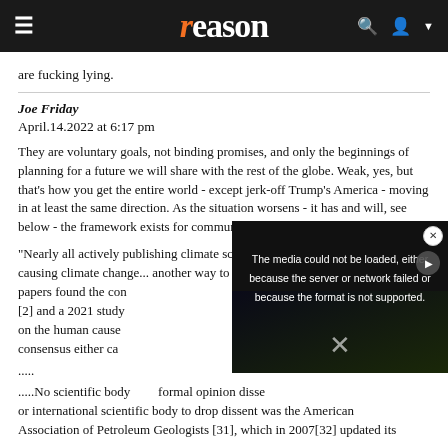reason
are fucking lying.
Joe Friday
April.14.2022 at 6:17 pm
They are voluntary goals, not binding promises, and only the beginnings of planning for a future we will share with the rest of the globe. Weak, yes, but that's how you get the entire world - except jerk-off Trump's America - moving in at least the same direction. As the situation worsens - it has and will, see below - the framework exists for communication and agreement.
"Nearly all actively publishing climate scientists (97–100%) say humans are causing climate change... another way to mea... papers found the co... [2] and a 2021 study... on the human cause... consensus either ca...
.....
.....No scientific body... formal opinion disse... or international scientific body to drop dissent was the American Association of Petroleum Geologists [31], which in 2007[32] updated its